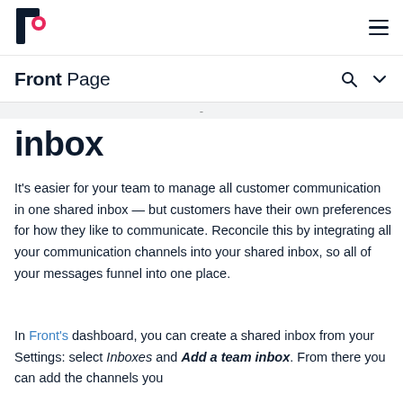[Figure (logo): Front app logo — stylized F shape in dark navy with a pink/red circle accent]
Front Page
inbox
It's easier for your team to manage all customer communication in one shared inbox — but customers have their own preferences for how they like to communicate. Reconcile this by integrating all your communication channels into your shared inbox, so all of your messages funnel into one place.
In Front's dashboard, you can create a shared inbox from your Settings: select Inboxes and Add a team inbox. From there you can add the channels you